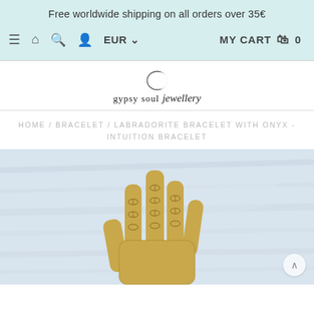Free worldwide shipping on all orders over 35€
≡  🏠  🔍  👤  EUR ∨    MY CART 🛒  0
[Figure (logo): Gypsy Soul Jewellery logo with crescent moon illustration above stylized text 'gypsy soul jewellery']
HOME / BRACELET / LABRADORITE BRACELET WITH ONYX - INTUITION BRACELET
[Figure (photo): Close-up photo of a gold hamsa hand display holder with decorative leaf/feather engraving on fingers, against a light blue/grey marble background]